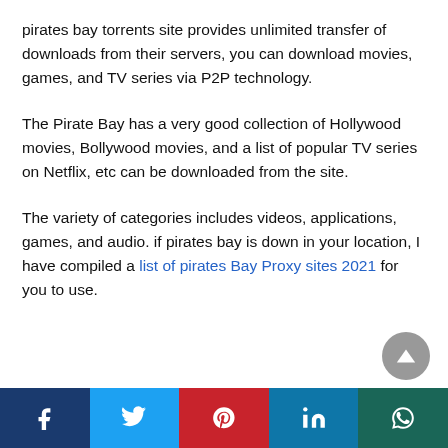pirates bay torrents site provides unlimited transfer of downloads from their servers, you can download movies, games, and TV series via P2P technology.
The Pirate Bay has a very good collection of Hollywood movies, Bollywood movies, and a list of popular TV series on Netflix, etc can be downloaded from the site.
The variety of categories includes videos, applications, games, and audio. if pirates bay is down in your location, I have compiled a list of pirates Bay Proxy sites 2021 for you to use.